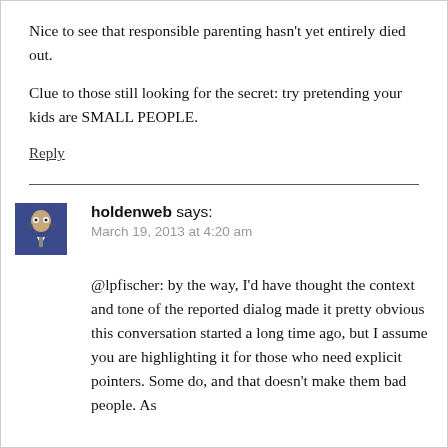Nice to see that responsible parenting hasn't yet entirely died out.
Clue to those still looking for the secret: try pretending your kids are SMALL PEOPLE.
Reply
holdenweb says:
March 19, 2013 at 4:20 am
@lpfischer: by the way, I'd have thought the context and tone of the reported dialog made it pretty obvious this conversation started a long time ago, but I assume you are highlighting it for those who need explicit pointers. Some do, and that doesn't make them bad people. As